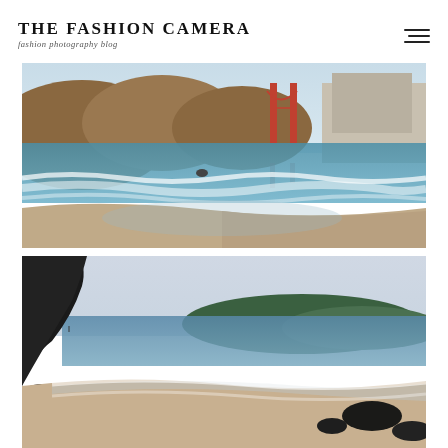THE FASHION CAMERA — fashion photography blog
[Figure (photo): Baker Beach, San Francisco with Golden Gate Bridge visible in background. Ocean waves washing onto sandy beach with brown hills and bridge towers in distance.]
[Figure (photo): Coastal beach scene with dark rocky cliffs on the left, calm blue ocean water, sandy beach, and green headland in the background under a pale sky.]